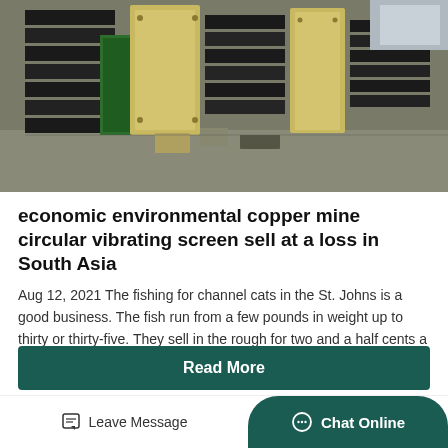[Figure (photo): Photo of stacked industrial vibrating screen equipment, black and yellow/beige metal frames with green panel, in a warehouse or storage area]
economic environmental copper mine circular vibrating screen sell at a loss in South Asia
Aug 12, 2021 The fishing for channel cats in the St. Johns is a good business. The fish run from a few pounds in weight up to thirty or thirty-five. They sell in the rough for two and a half cents a pound....
Read More
Leave Message
Chat Online